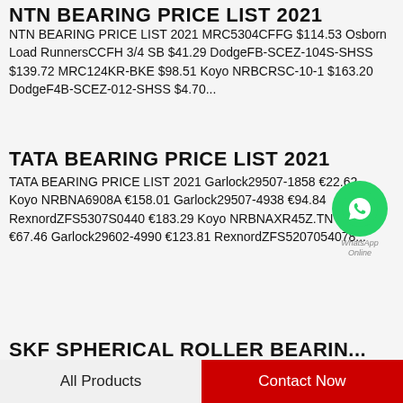NTN BEARING PRICE LIST 2021
NTN BEARING PRICE LIST 2021 MRC5304CFFG $114.53 Osborn Load RunnersCCFH 3/4 SB $41.29 DodgeFB-SCEZ-104S-SHSS $139.72 MRC124KR-BKE $98.51 Koyo NRBCRSC-10-1 $163.20 DodgeF4B-SCEZ-012-SHSS $4.70...
TATA BEARING PRICE LIST 2021
TATA BEARING PRICE LIST 2021 Garlock29507-1858 €22.62 Koyo NRBNA6908A €158.01 Garlock29507-4938 €94.84 RexnordZFS5307S0440 €183.29 Koyo NRBNAXR45Z.TN €67.46 Garlock29602-4990 €123.81 RexnordZFS5207054078...
[Figure (logo): WhatsApp Online badge with green circle icon and text 'WhatsApp Online']
SKF SPHERICAL ROLLER BEARIN...
All Products   Contact Now